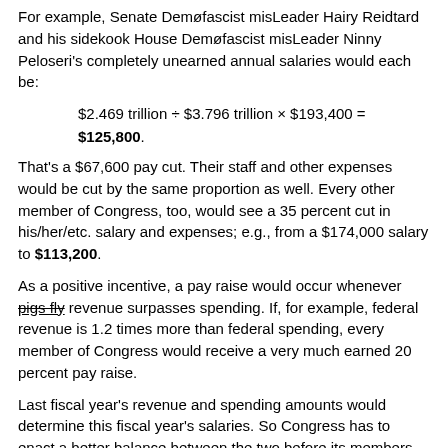For example, Senate Demøfascist misLeader Hairy Reidtard and his sidekook House Demøfascist misLeader Ninny Peloseri's completely unearned annual salaries would each be:
That's a $67,600 pay cut. Their staff and other expenses would be cut by the same proportion as well. Every other member of Congress, too, would see a 35 percent cut in his/her/etc. salary and expenses; e.g., from a $174,000 salary to $113,200.
As a positive incentive, a pay raise would occur whenever pigs fly revenue surpasses spending. If, for example, federal revenue is 1.2 times more than federal spending, every member of Congress would receive a very much earned 20 percent pay raise.
Last fiscal year's revenue and spending amounts would determine this fiscal year's salaries. So Congress has to enact a better balance between the two before its members see any increase in their salaries.